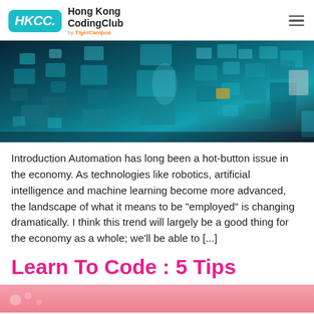HKCC. Hong Kong CodingClub by TigerCampus
[Figure (photo): Abstract digital technology image showing floating luminous squares and rectangles in teal/cyan tones against a dark background, representing digital data or media content]
Introduction Automation has long been a hot-button issue in the economy. As technologies like robotics, artificial intelligence and machine learning become more advanced, the landscape of what it means to be “employed” is changing dramatically. I think this trend will largely be a good thing for the economy as a whole; we'll be able to [...]
Learn To Code : 5 Tips
[Figure (photo): Bottom strip of a pinkish-red image, partially visible]